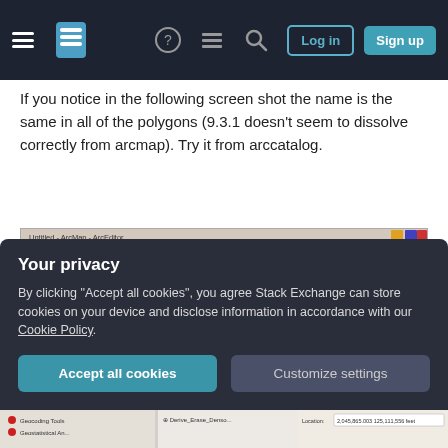Stack Exchange navigation bar with hamburger menu, logo, icons, Log in and Sign up buttons
If you notice in the following screen shot the name is the same in all of the polygons (9.3.1 doesn't seem to dissolve correctly from arcmap). Try it from arccatalog.
[Figure (screenshot): ArcMap screenshot showing Layers panel with Dissolve_Example layers and dissolve results displayed as pink and purple blob polygons on a white canvas]
Your privacy
By clicking "Accept all cookies", you agree Stack Exchange can store cookies on your device and disclose information in accordance with our Cookie Policy.
[Figure (screenshot): Bottom strip of ArcMap window showing Geocoding Tools and Geostatistical An... in tool panel, and a map extent coordinates bar]